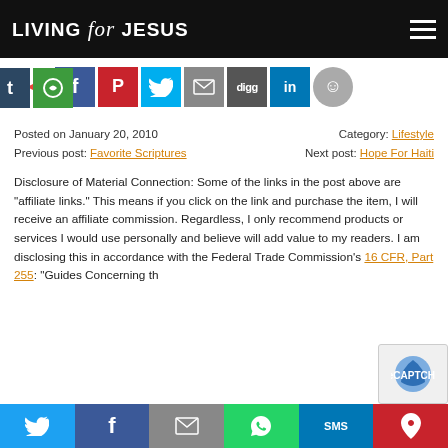LIVING for JESUS
[Figure (screenshot): Social media sharing icons row: share arrow, Facebook, Pinterest, Twitter, Email, Digg, LinkedIn, Reddit, Tumblr, StumbleUpon]
Posted on January 20, 2010    Category: Lifestyle
Previous post: Favorite Scriptures    Next post: Hope For Haiti
Disclosure of Material Connection: Some of the links in the post above are "affiliate links." This means if you click on the link and purchase the item, I will receive an affiliate commission. Regardless, I only recommend products or services I would use personally and believe will add value to my readers. I am disclosing this in accordance with the Federal Trade Commission's 16 CFR, Part 255: "Guides Concerning th
[Figure (screenshot): Bottom share bar with Twitter, Facebook, Email, WhatsApp, SMS, Pinterest icons]